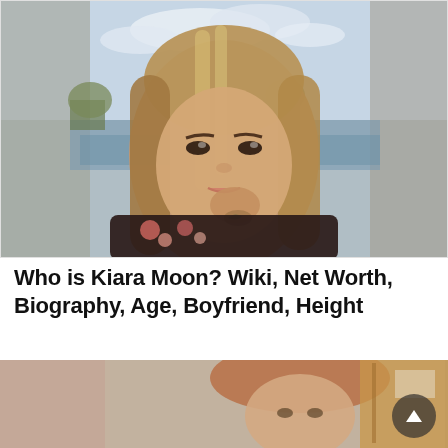[Figure (photo): Young woman with long straight highlighted hair, resting her chin/hand on her fist, wearing a floral dark top, background shows a lake and trees with cloudy sky. Appears to be an outdoor selfie-style portrait.]
Who is Kiara Moon? Wiki, Net Worth, Biography, Age, Boyfriend, Height
[Figure (photo): Partial view of another person with reddish-blonde hair, appears to be indoors, with a wooden door/wall visible in the background. Second article thumbnail image.]